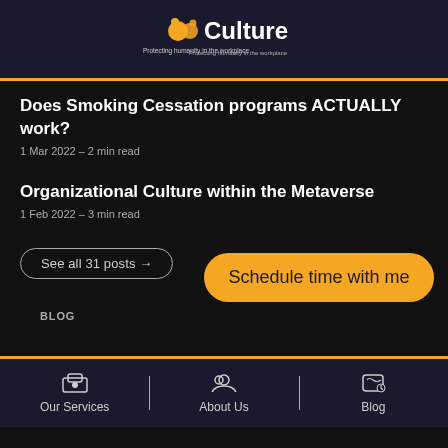[Figure (logo): CoCulture logo with orange icon and white text, tagline: Protecting humanity in the workplace]
Does Smoking Cessation programs ACTUALLY work?
1 Mar 2022 – 2 min read
Organizational Culture within the Metaverse
1 Feb 2022 – 3 min read
See all 31 posts →
Schedule time with me
BLOG
Our Services | About Us | Blog